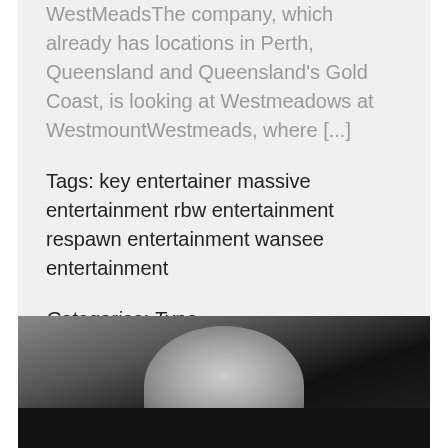WestMeadsThe company, which already has locations in Perth, Queensland and Queensland's Gold Coast, is looking at Westmeadows at WestmountWestmeads, where [...]
Tags: key entertainer massive entertainment rbw entertainment respawn entertainment wansee entertainment
Categories: Type
View the post →
[Figure (photo): Dark photograph showing the front of a large vehicle (aircraft or truck cockpit) with a white/grey windshield or fuselage visible against a dark background]